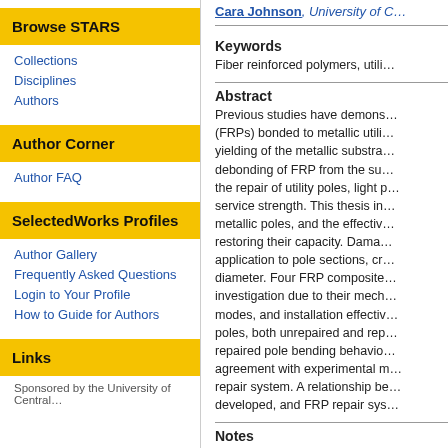Browse STARS
Collections
Disciplines
Authors
Author Corner
Author FAQ
SelectedWorks Profiles
Author Gallery
Frequently Asked Questions
Login to Your Profile
How to Guide for Authors
Links
Cara Johnson, University of C…
Keywords
Fiber reinforced polymers, utili…
Abstract
Previous studies have demons… (FRPs) bonded to metallic utili… yielding of the metallic substra… debonding of FRP from the su… the repair of utility poles, light p… service strength. This thesis in… metallic poles, and the effectiv… restoring their capacity. Dama… application to pole sections, cr… diameter. Four FRP composite… investigation due to their mech… modes, and installation effectiv… poles, both unrepaired and rep… repaired pole bending behavio… agreement with experimental m… repair system. A relationship be… developed, and FRP repair sys…
Notes
If this is your thesis or disserta… information about readership…